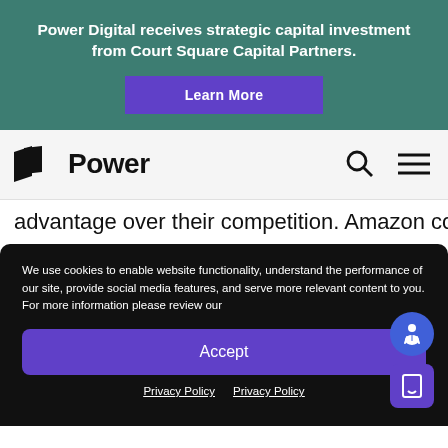Power Digital receives strategic capital investment from Court Square Capital Partners.
[Figure (screenshot): Purple 'Learn More' button on teal background]
[Figure (logo): Power Digital logo with stylized flag icon and word 'Power', plus search and hamburger menu icons]
advantage over their competition. Amazon committed
We use cookies to enable website functionality, understand the performance of our site, provide social media features, and serve more relevant content to you. For more information please review our
[Figure (screenshot): Purple 'Accept' button for cookie consent]
Privacy Policy  Privacy Policy